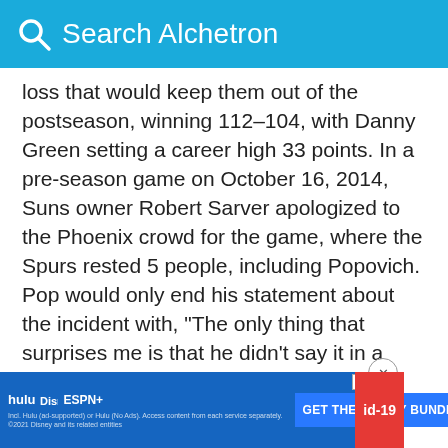Search Alchetron
loss that would keep them out of the postseason, winning 112–104, with Danny Green setting a career high 33 points. In a pre-season game on October 16, 2014, Suns owner Robert Sarver apologized to the Phoenix crowd for the game, where the Spurs rested 5 people, including Popovich. Pop would only end his statement about the incident with, "The only thing that surprises me is that he didn't say it in a chicken suit."
Logo and uniforms
Since becoming the San Antonio Spurs in 1973, the team [ad banner obscures] distinc[t]...ont.
[Figure (screenshot): Advertisement banner for Hulu/Disney+/ESPN+ bundle with GET THE DISNEY BUNDLE call to action button and id-19 label]